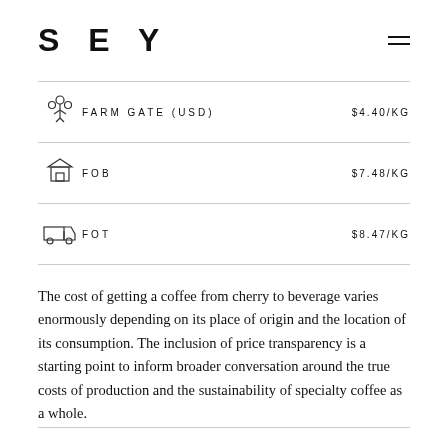SEY
| Icon | Label | Price |
| --- | --- | --- |
| [farm icon] | FARM GATE (USD) | $4.40/KG |
| [ship icon] | FOB | $7.48/KG |
| [truck icon] | FOT | $8.47/KG |
The cost of getting a coffee from cherry to beverage varies enormously depending on its place of origin and the location of its consumption. The inclusion of price transparency is a starting point to inform broader conversation around the true costs of production and the sustainability of specialty coffee as a whole.